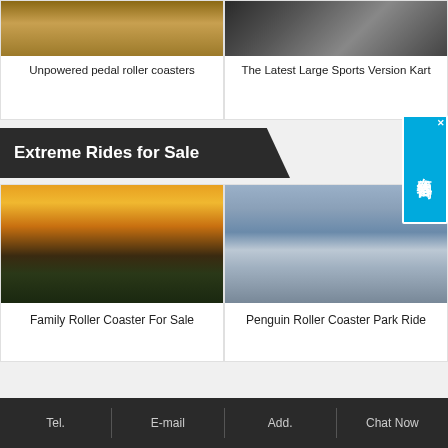[Figure (photo): Unpowered pedal roller coasters product photo (partial, top cropped)]
[Figure (photo): The Latest Large Sports Version Kart product photo (partial, top cropped)]
Unpowered pedal roller coasters
The Latest Large Sports Version Kart
Extreme Rides for Sale
[Figure (photo): Family Roller Coaster ride at sunset with wooden structure]
[Figure (photo): Penguin Roller Coaster Park Ride in indoor facility]
Family Roller Coaster For Sale
Penguin Roller Coaster Park Ride
Tel. | E-mail | Add. | Chat Now